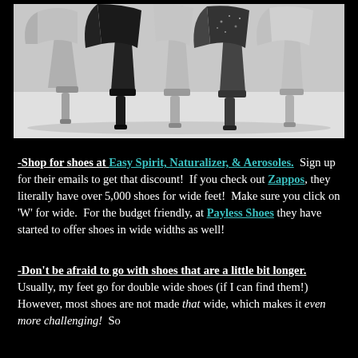[Figure (photo): Black and white photo of several high-heel shoes viewed from behind, showing the heels and soles lined up on a light background]
-Shop for shoes at Easy Spirit, Naturalizer, & Aerosoles. Sign up for their emails to get that discount! If you check out Zappos, they literally have over 5,000 shoes for wide feet! Make sure you click on 'W' for wide. For the budget friendly, at Payless Shoes they have started to offer shoes in wide widths as well!
-Don't be afraid to go with shoes that are a little bit longer. Usually, my feet go for double wide shoes (if I can find them!) However, most shoes are not made that wide, which makes it even more challenging! So